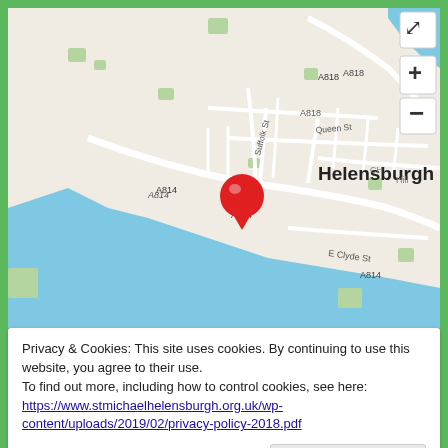[Figure (map): OpenStreetMap showing Helensburgh, Scotland with roads A818, A814, Suffolk St, Queen St, E Clyde St labeled. A red location pin marks a spot on A814 near the town center. Water (Firth of Clyde) is visible in the lower-left. Zoom controls (+/-) and expand icon are on the right side.]
Privacy & Cookies: This site uses cookies. By continuing to use this website, you agree to their use.
To find out more, including how to control cookies, see here:
https://www.stmichaelhelensburgh.org.uk/wp-content/uploads/2019/02/privacy-policy-2018.pdf
Accept and Close